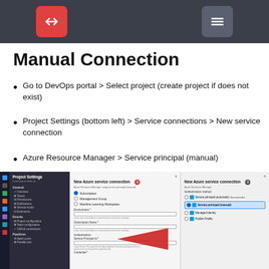Manual Connection - header bar with navigation buttons
Manual Connection
Go to DevOps portal > Select project (create project if does not exist)
Project Settings (bottom left) > Service connections > New service connection
Azure Resource Manager > Service principal (manual)
[Figure (screenshot): Screenshot showing Azure DevOps Project Settings panel on the left, a New Azure service connection dialog (step 4) with subscription options and form fields in the middle, a red arrow pointing left, and another New Azure service connection dialog (step 3) on the right showing authentication method options including Service principal (manual) highlighted.]